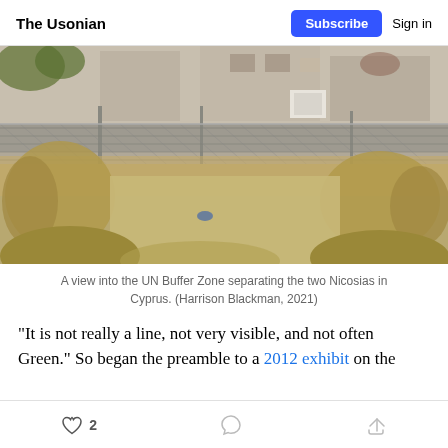The Usonian | Subscribe | Sign in
[Figure (photo): A view into the UN Buffer Zone separating the two Nicosias in Cyprus. Chain-link fence in foreground with dry tall grass, abandoned buildings and rubble in background.]
A view into the UN Buffer Zone separating the two Nicosias in Cyprus. (Harrison Blackman, 2021)
“It is not really a line, not very visible, and not often Green.” So began the preamble to a 2012 exhibit on the
2 | comment | share